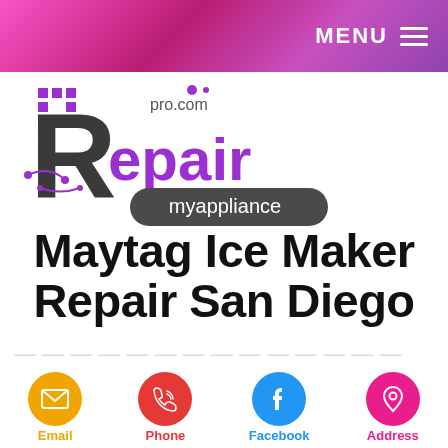MENU ☰
[Figure (logo): RepairMyAppliance pro.com logo with stylized R and purple/gray color scheme]
Maytag Ice Maker Repair San Diego
Maytag ice manufacturer repair work may be required if the device isn't
Email  Phone  Facebook  Address